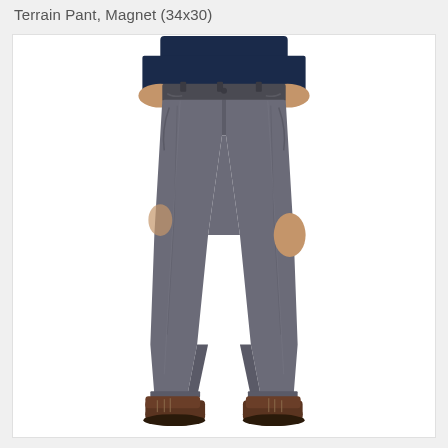Terrain Pant, Magnet (34x30)
[Figure (photo): Product photo of a man from waist down wearing grey/magnet colored terrain pants and dark brown boots, standing against a white background. The pants are straight-leg style chinos in a dark grey (magnet) color.]